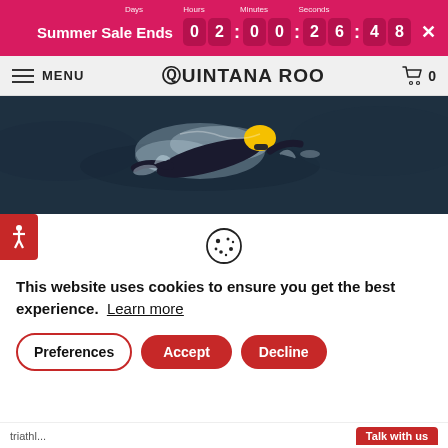Summer Sale Ends 0 2 : 0 0 : 2 6 : 4 8
MENU QUINTANA ROO 0
[Figure (photo): Aerial view of a triathlete swimmer in dark water wearing a yellow cap and black wetsuit, splashing through open water.]
This website uses cookies to ensure you get the best experience. Learn more
Preferences Accept Decline
triathl... Talk with us